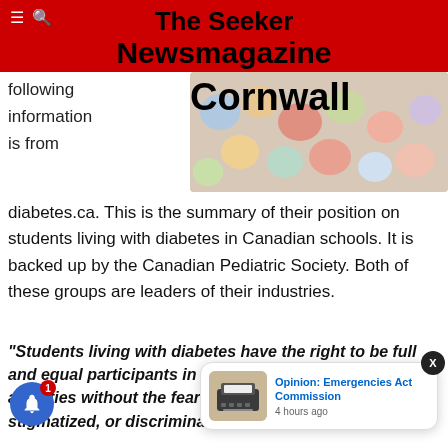The Seeker Newsmagazine Cornwall
Cornwall
following information is from
[Figure (photo): Close-up photo of colorful candy-coated pills/tablets in various colors including blue, gold, red, and pastel shades]
diabetes.ca. This is the summary of their position on students living with diabetes in Canadian schools. It is backed up by the Canadian Pediatric Society. Both of these groups are leaders of their industries.
“Students living with diabetes have the right to be full and equal participants in school and all school-related activities without the fear of being excluded, stigmatized, or discriminated against.
School boards s… hensive d… the roles and responsibilities of the students living with
[Figure (photo): Small thumbnail photo of a typewriter]
Opinion: Emergencies Act Commission
4 hours ago